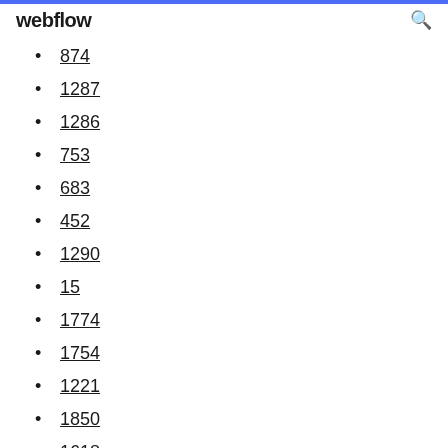webflow
874
1287
1286
753
683
452
1290
15
1774
1754
1221
1850
1618